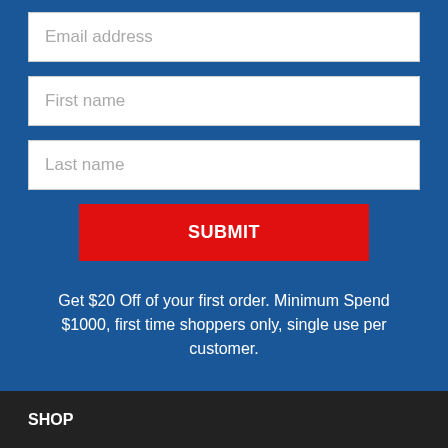Email address
First name
Last name
SUBMIT
Get $20 Off of your first order. Minimum Spend $1000, first time shoppers only, single use per customer.
SHOP
Lounges & Sofas
Living & Dining
Rugs
Office